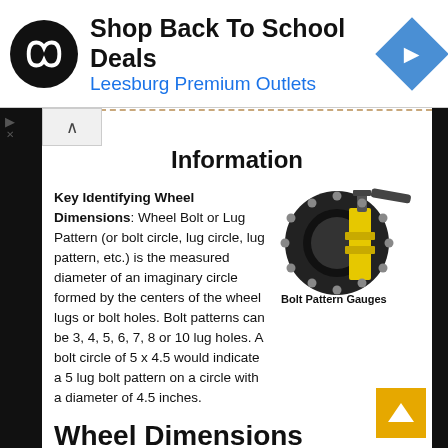[Figure (logo): Advertisement banner: black circular logo with stylized infinity/arrows symbol, text 'Shop Back To School Deals', blue subtext 'Leesburg Premium Outlets', blue diamond navigation arrow icon on right]
Information
Key Identifying Wheel Dimensions: Wheel Bolt or Lug Pattern (or bolt circle, lug circle, lug pattern, etc.) is the measured diameter of an imaginary circle formed by the centers of the wheel lugs or bolt holes. Bolt patterns can be 3, 4, 5, 6, 7, 8 or 10 lug holes. A bolt circle of 5 x 4.5 would indicate a 5 lug bolt pattern on a circle with a diameter of 4.5 inches.
[Figure (logo): Bolt Pattern Gauges logo: circular gauge tool with yellow and black color scheme, text 'Bolt Pattern Gauges' below]
Wheel Dimensions
There are four important measurements that are used to